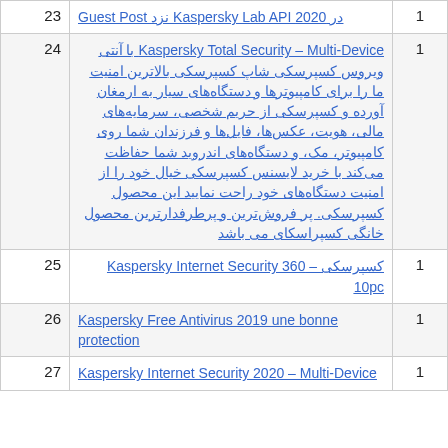| # | Title | Count |
| --- | --- | --- |
| 23 | Guest Post … API در 2020 نزد Kaspersky Lab | 1 |
| 24 | Kaspersky Total Security – Multi-Device با آنتی ویروس کسپرسکی شاپ کسپرسکی بالاترین امنیت ما را برای کامپیوترها و دستگاه‌های سیار به ارمغان آورده و کسپرسکی از حریم شخصی، سرمایه‌های مالی، هویت، عکس‌ها، فایل‌ها و فرزندان شما روی کامپیوتر، مک، و دستگاه‌های اندروید شما حفاظت می‌کند با خرید لایسنس کسپرسکی خیال خود را از امنیت دستگاه‌های خود راحت نمایید این محصول کسپرسکی. پر فروش‌ترین و پرطرفدارترین محصول خانگی کسپراسکای می باشد | 1 |
| 25 | کسپرسکی – Kaspersky Internet Security 360 10pc | 1 |
| 26 | Kaspersky Free Antivirus 2019 une bonne protection | 1 |
| 27 | Kaspersky Internet Security 2020 – Multi-Device | 1 |